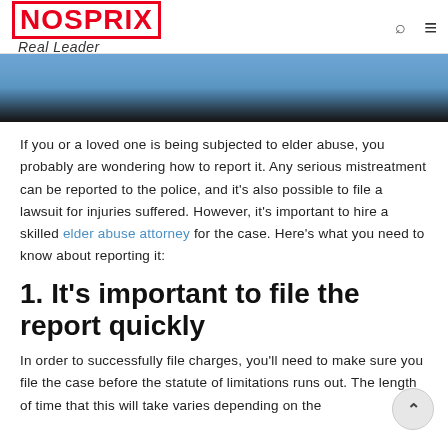NOSPRIX Real Leader
[Figure (photo): Hero image showing dark silhouette figure against blue sky background]
If you or a loved one is being subjected to elder abuse, you probably are wondering how to report it. Any serious mistreatment can be reported to the police, and it's also possible to file a lawsuit for injuries suffered. However, it's important to hire a skilled elder abuse attorney for the case. Here's what you need to know about reporting it:
1. It's important to file the report quickly
In order to successfully file charges, you'll need to make sure you file the case before the statute of limitations runs out. The length of time that this will take varies depending on the